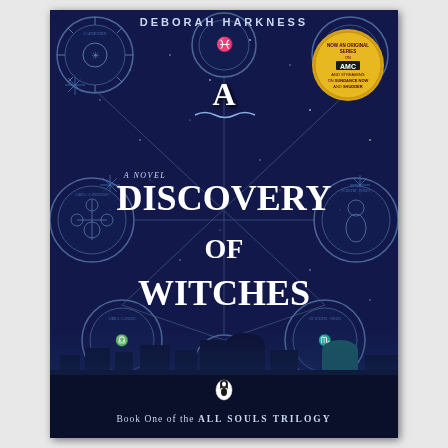[Figure (illustration): Book cover of 'A Discovery of Witches' by Deborah Harkness. Dark navy blue background with mystical astronomical circular diagrams at corners and center. Large decorative white title text reads 'A Discovery of Witches' with 'A Novel' in smaller text. Author name 'DEBORAH HARKNESS' at top in silver/white letters. Cityscape of Oxford at the bottom with domed buildings. Penguin Books logo at bottom center. Gold circular badge in top right reads 'NOW AN ORIGINAL SERIES ON AMC AND STREAMING ON SUNDANCE NOW AND SHUDDER'. Bottom text reads 'Book One of the ALL SOULS TRILOGY'.]